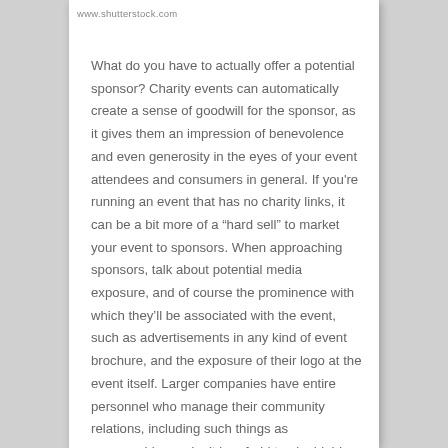www.shutterstock.com
What do you have to actually offer a potential sponsor? Charity events can automatically create a sense of goodwill for the sponsor, as it gives them an impression of benevolence and even generosity in the eyes of your event attendees and consumers in general. If you're running an event that has no charity links, it can be a bit more of a “hard sell” to market your event to sponsors. When approaching sponsors, talk about potential media exposure, and of course the prominence with which they’ll be associated with the event, such as advertisements in any kind of event brochure, and the exposure of their logo at the event itself. Larger companies have entire personnel who manage their community relations, including such things as sponsorship, so don’t be afraid to aim high!